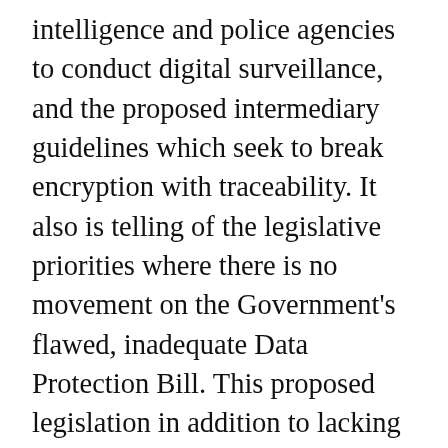intelligence and police agencies to conduct digital surveillance, and the proposed intermediary guidelines which seek to break encryption with traceability. It also is telling of the legislative priorities where there is no movement on the Government's flawed, inadequate Data Protection Bill. This proposed legislation in addition to lacking a clear legislative roadmap and now looking as an afterthought is also substantially deficient as it does not contain provisions for judicial oversight for surveillance.